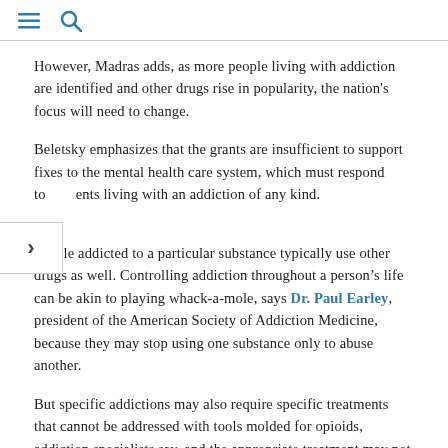≡ 🔍
However, Madras adds, as more people living with addiction are identified and other drugs rise in popularity, the nation's focus will need to change.
Beletsky emphasizes that the grants are insufficient to support fixes to the mental health care system, which must respond to patients living with an addiction of any kind.
People addicted to a particular substance typically use other drugs as well. Controlling addiction throughout a person's life can be akin to playing whack-a-mole, says Dr. Paul Earley, president of the American Society of Addiction Medicine, because they may stop using one substance only to abuse another.
But specific addictions may also require specific treatments that cannot be addressed with tools molded for opioids, addiction specialists say, and the appropriate treatment may not be as available.
"this breed...